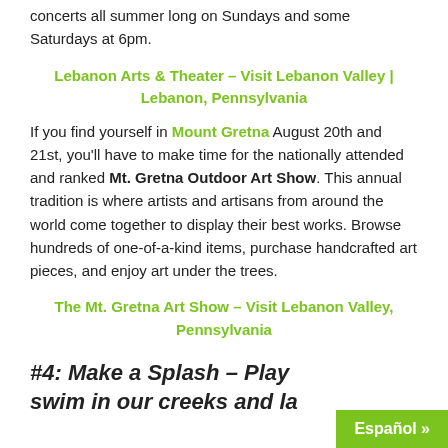concerts all summer long on Sundays and some Saturdays at 6pm.
Lebanon Arts & Theater – Visit Lebanon Valley | Lebanon, Pennsylvania
If you find yourself in Mount Gretna August 20th and 21st, you'll have to make time for the nationally attended and ranked Mt. Gretna Outdoor Art Show. This annual tradition is where artists and artisans from around the world come together to display their best works. Browse hundreds of one-of-a-kind items, purchase handcrafted art pieces, and enjoy art under the trees.
The Mt. Gretna Art Show – Visit Lebanon Valley, Pennsylvania
#4: Make a Splash – Play swim in our creeks and la